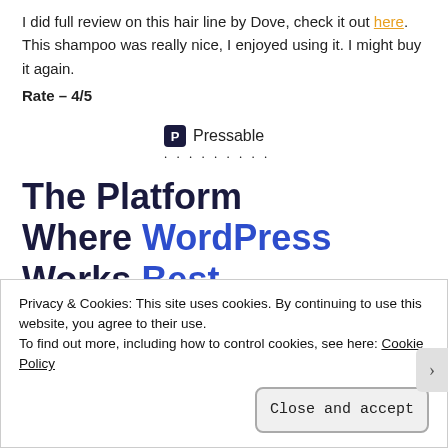I did full review on this hair line by Dove, check it out here. This shampoo was really nice, I enjoyed using it. I might buy it again.
Rate – 4/5
[Figure (logo): Pressable logo with 'P' icon and dotted separator line]
The Platform Where WordPress Works Best
SEE PRICING
Privacy & Cookies: This site uses cookies. By continuing to use this website, you agree to their use.
To find out more, including how to control cookies, see here: Cookie Policy
Close and accept